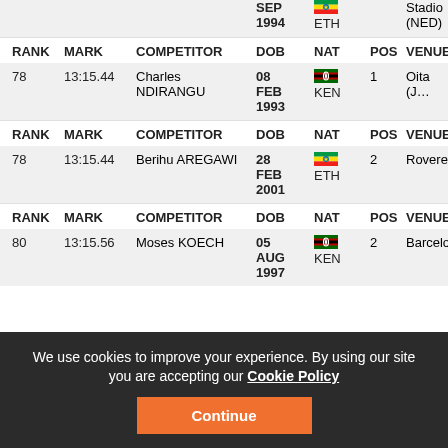| RANK | MARK | COMPETITOR | DOB | NAT | POS | VENUE |
| --- | --- | --- | --- | --- | --- | --- |
|  |  |  | SEP 1994 | ETH |  | Stadio (NED) |
| 78 | 13:15.44 | Charles NDIRANGU | 08 FEB 1993 | KEN | 1 | Oita (J… |
| 78 | 13:15.44 | Berihu AREGAWI | 28 FEB 2001 | ETH | 2 | Rovere… |
| 80 | 13:15.56 | Moses KOECH | 05 AUG 1997 | KEN | 2 | Barcelo… |
We use cookies to improve your experience. By using our site you are accepting our Cookie Policy
Continue